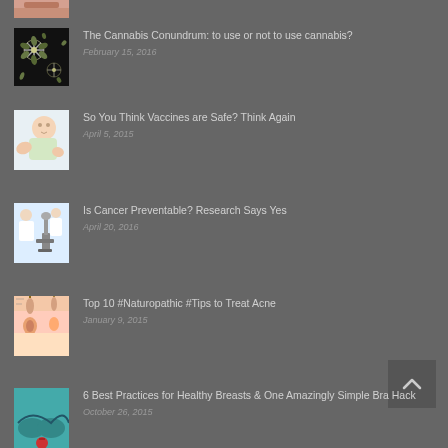[Figure (photo): Partial cropped image at top - skin/body tone thumbnail]
The Cannabis Conundrum: to use or not to use cannabis?
February 15, 2016
So You Think Vaccines are Safe? Think Again
April 5, 2015
Is Cancer Preventable? Research Says Yes
April 20, 2016
Top 10 #Naturopathic #Tips to Treat Acne
January 9, 2015
6 Best Practices for Healthy Breasts & One Amazingly Simple Bra Hack
October 26, 2015